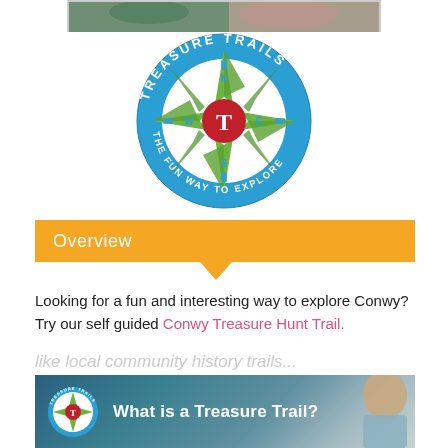[Figure (photo): Partial photo of people at top of page, cropped]
[Figure (logo): Treasure Trails circular logo — compass rose with N/S/E/W, green star, red circle center with T, blue ring with text TREASURE TRAILS / THE FUN WAY TO EXPLORE]
Overview
Looking for a fun and interesting way to explore Conwy? Try our self guided Conwy Treasure Hunt Trail.
(faded background text partially visible)
[Figure (screenshot): Video thumbnail: Treasure Trails logo on left, white text 'What is a Treasure Trail?' on dark outdoor background, man visible on right side]